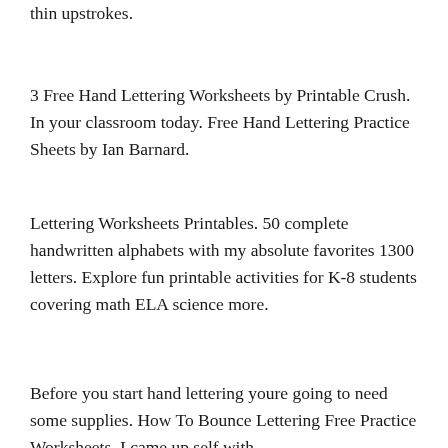thin upstrokes.
3 Free Hand Lettering Worksheets by Printable Crush. In your classroom today. Free Hand Lettering Practice Sheets by Ian Barnard.
Lettering Worksheets Printables. 50 complete handwritten alphabets with my absolute favorites 1300 letters. Explore fun printable activities for K-8 students covering math ELA science more.
Before you start hand lettering youre going to need some supplies. How To Bounce Lettering Free Practice Worksheets. I came up self with